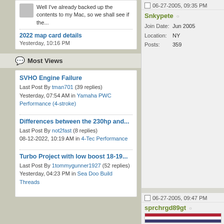Well I've already backed up the contents to my Mac, so we shall see if the...
2022 map card details
Yesterday, 10:16 PM
Most Views
SVHO Engine Failure
Last Post By tman701 (39 replies) Yesterday, 07:54 AM in Yamaha PWC Performance (4-stroke)
Differences between the 230hp and...
Last Post By not2fast (8 replies) 08-12-2022, 10:19 AM in 4-Tec Performance
Turbo Project with low boost 18-19...
Last Post By 1tommygunner1927 (52 replies) Yesterday, 04:23 PM in Sea Doo Build Threads
06-27-2005, 09:35 PM
Snkypete
| Field | Value |
| --- | --- |
| Join Date: | Jun 2005 |
| Location: | NY |
| Posts: | 359 |
06-27-2005, 09:47 PM
sprchrgd89gt